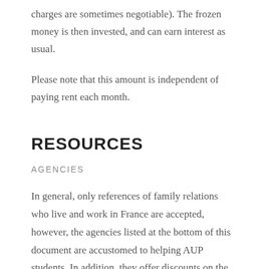charges are sometimes negotiable). The frozen money is then invested, and can earn interest as usual.
Please note that this amount is independent of paying rent each month.
RESOURCES
AGENCIES
In general, only references of family relations who live and work in France are accepted, however, the agencies listed at the bottom of this document are accustomed to helping AUP students. In addition, they offer discounts on the usual one month's rent agency fee. Students should be